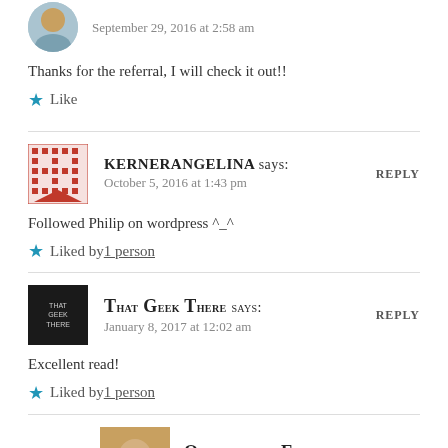September 29, 2016 at 2:58 am
Thanks for the referral, I will check it out!!
★ Like
KERNERANGELINA says:
October 5, 2016 at 1:43 pm
REPLY
Followed Philip on wordpress ^_^
★ Liked by 1 person
That Geek There says:
January 8, 2017 at 12:02 am
REPLY
Excellent read!
★ Liked by 1 person
Quintessential Editor says:
January 9, 2017 at 2:02 pm
REPLY